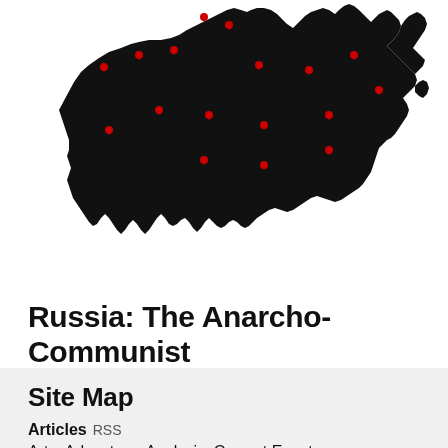[Figure (map): Black silhouette map of Russia with multiple small red location pin markers scattered across the territory.]
Russia: The Anarcho-Communist Combat Organization
An Interview with a Clandestine Anarchist Group
Site Map
Articles RSS
Arts, Adventure, Analysis, Current Events